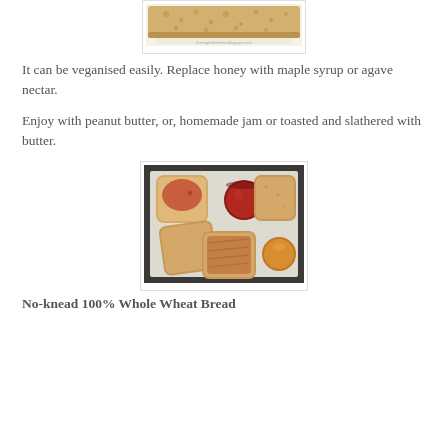[Figure (photo): Top portion of a loaf of bread shown from above on a white surface]
It can be veganised easily. Replace honey with maple syrup or agave nectar.
Enjoy with peanut butter, or, homemade jam or toasted and slathered with butter.
[Figure (photo): Multiple slices of wheat bread on parchment paper, some spread with jam and peanut butter, with small jars of jam and honey]
No-knead 100% Whole Wheat Bread